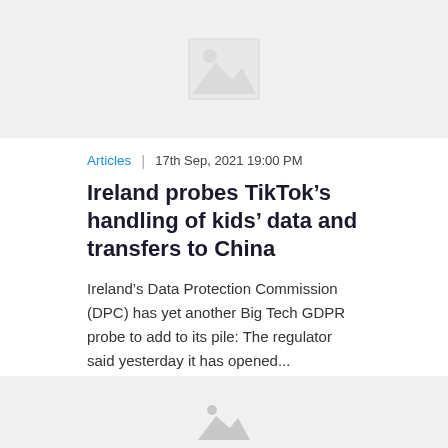[Figure (illustration): Gray image placeholder with mountain/landscape icon]
Articles | 17th Sep, 2021 19:00 PM
Ireland probes TikTok&#8217;s handling of kids&#8217; data and transfers to China
Ireland&#8217;s Data Protection Commission (DPC) has yet another Big Tech GDPR probe to add to its pile: The regulator said yesterday it has opened...
Read more
[Figure (illustration): Gray image placeholder at bottom of page]